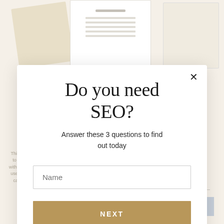[Figure (screenshot): Background showing blurred website with document images at top and cookie consent text and buttons at bottom]
Do you need SEO?
Answer these 3 questions to find out today
Name (input field)
NEXT (button)
This website uses cookies and similar technologies to track browsing behaviour to provide you with improved services. We will only use the data if you consent. You can also change your settings.
PREFERENCES
ACCEPT ALL